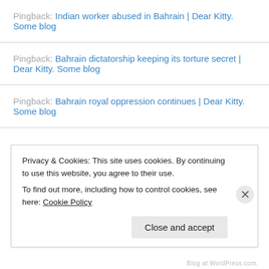Pingback: Indian worker abused in Bahrain | Dear Kitty. Some blog
Pingback: Bahrain dictatorship keeping its torture secret | Dear Kitty. Some blog
Pingback: Bahrain royal oppression continues | Dear Kitty. Some blog
Privacy & Cookies: This site uses cookies. By continuing to use this website, you agree to their use.
To find out more, including how to control cookies, see here: Cookie Policy
Close and accept